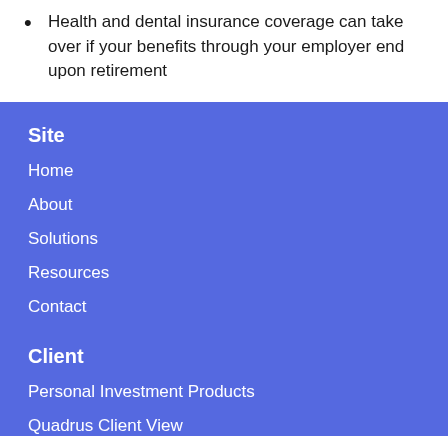Health and dental insurance coverage can take over if your benefits through your employer end upon retirement
Site
Home
About
Solutions
Resources
Contact
Client
Personal Investment Products
Quadrus Client View